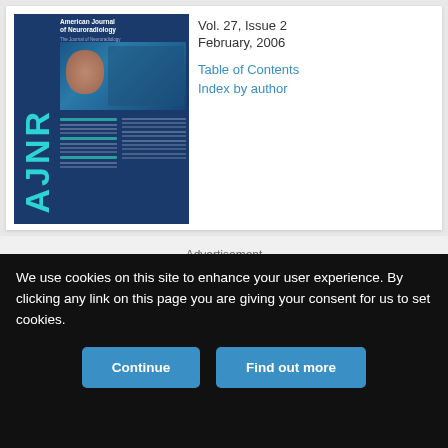[Figure (illustration): AJNR American Journal of Neuroradiology journal cover, Vol. 27 Issue 2, February 2006, showing blue cover with AJNR vertical text and brain imaging content]
Vol. 27, Issue 2
February, 2006
Table of Contents
Index by author
Advertisement
[Figure (logo): Stryker advertisement showing stryker logo and text: Performance. Apposition. Diversion. with yellow bar and dark background]
We use cookies on this site to enhance your user experience. By clicking any link on this page you are giving your consent for us to set cookies.
Continue
Find out more